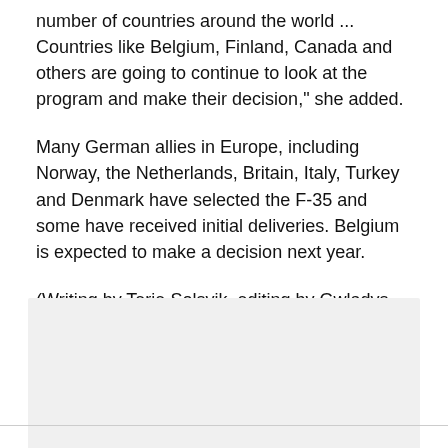number of countries around the world ... Countries like Belgium, Finland, Canada and others are going to continue to look at the program and make their decision," she added.
Many German allies in Europe, including Norway, the Netherlands, Britain, Italy, Turkey and Denmark have selected the F-35 and some have received initial deliveries. Belgium is expected to make a decision next year.
(Writing by Terje Solsvik, editing by Gwladys Fouche and Adrian Croft)
[Figure (other): Light gray placeholder box]